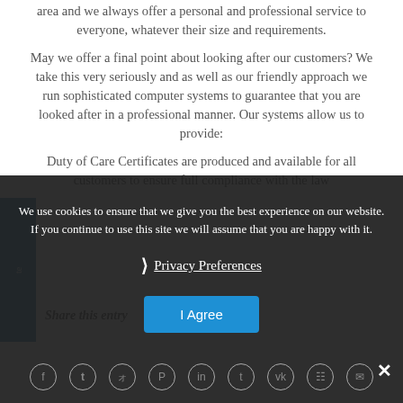area and we always offer a personal and professional service to everyone, whatever their size and requirements.
May we offer a final point about looking after our customers? We take this very seriously and as well as our friendly approach we run sophisticated computer systems to guarantee that you are looked after in a professional manner. Our systems allow us to provide:
Duty of Care Certificates are produced and available for all customers to ensure full compliance with the law
Share this entry
We use cookies to ensure that we give you the best experience on our website. If you continue to use this site we will assume that you are happy with it.
Privacy Preferences
I Agree